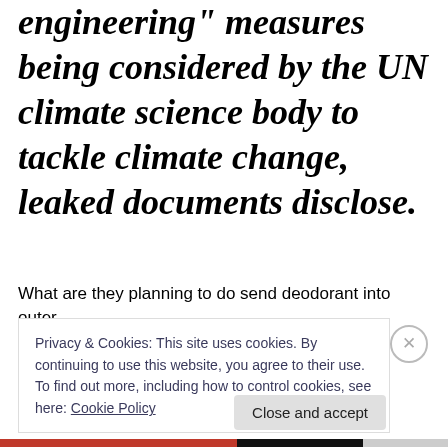engineering" measures being considered by the UN climate science body to tackle climate change, leaked documents disclose.
What are they planning to do send deodorant into outer
Privacy & Cookies: This site uses cookies. By continuing to use this website, you agree to their use.
To find out more, including how to control cookies, see here: Cookie Policy
Close and accept